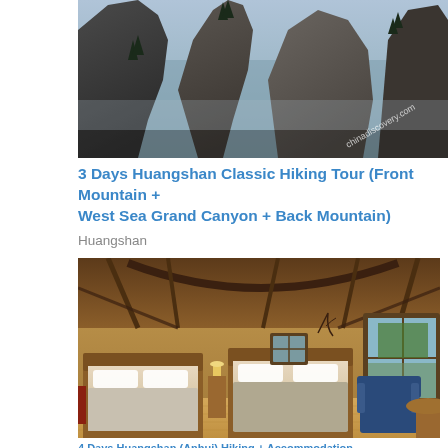[Figure (photo): Dramatic rocky mountain peaks of Huangshan with pine trees clinging to steep cliffs, watermark 'chinadiscovery.com' visible]
3 Days Huangshan Classic Hiking Tour (Front Mountain + West Sea Grand Canyon + Back Mountain)
Huangshan
[Figure (photo): Interior of a wooden lodge-style hotel room with two beds with white linens, rustic timber beam ceiling, a blue armchair, wooden side table, and a window showing mountain scenery outside]
4 Days Huangshan (Anhui) Hiking + Accommodation...